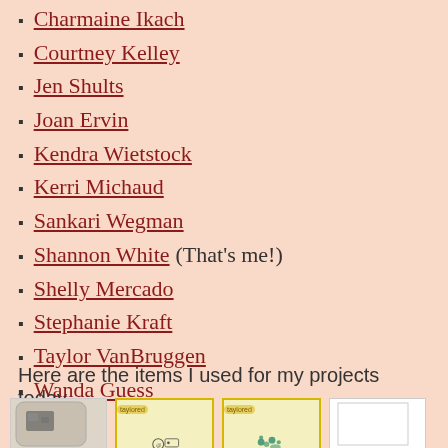Charmaine Ikach
Courtney Kelley
Jen Shults
Joan Ervin
Kendra Wietstock
Kerri Michaud
Sankari Wegman
Shannon White (That's me!)
Shelly Mercado
Stephanie Kraft
Taylor VanBruggen
Wanda Guess
Here are the items I used for my projects today...
[Figure (photo): Four product images in a row showing crafting items including a decorative label shape, two Taylored Expressions stamp/die sets, and a white card blank]